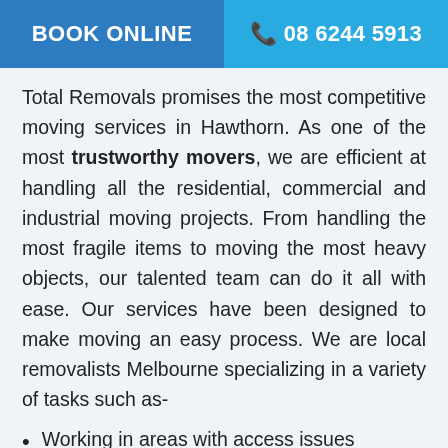BOOK ONLINE | 08 6244 5913
Total Removals promises the most competitive moving services in Hawthorn. As one of the most trustworthy movers, we are efficient at handling all the residential, commercial and industrial moving projects. From handling the most fragile items to moving the most heavy objects, our talented team can do it all with ease. Our services have been designed to make moving an easy process. We are local removalists Melbourne specializing in a variety of tasks such as-
Working in areas with access issues
Available on short notice
Any size move- Big or Small
Packing and unpacking
Backloading